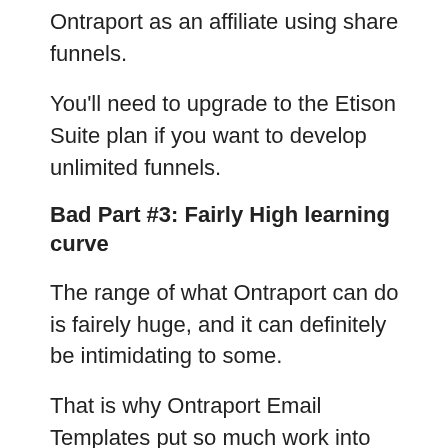Ontraport as an affiliate using share funnels.
You'll need to upgrade to the Etison Suite plan if you want to develop unlimited funnels.
Bad Part #3: Fairly High learning curve
The range of what Ontraport can do is fairely huge, and it can definitely be intimidating to some.
That is why Ontraport Email Templates put so much work into the onboarding process to help ease you into the software. The Ontraport interface is fairely well designed for the most part and when you've assembled a couple funnels yourself, the entire process does get easier over